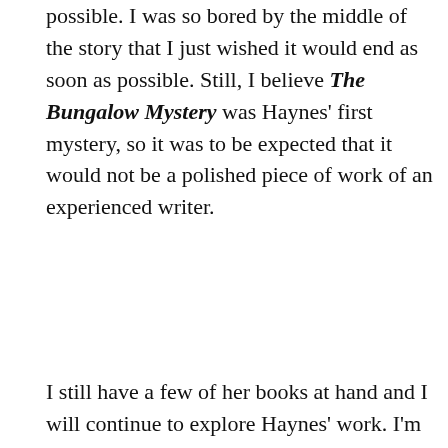possible. I was so bored by the middle of the story that I just wished it would end as soon as possible. Still, I believe The Bungalow Mystery was Haynes' first mystery, so it was to be expected that it would not be a polished piece of work of an experienced writer.
I still have a few of her books at hand and I will continue to explore Haynes' work. I'm intrigued to see if and how the books change over time.
I also managed to finish Mary Beard's S.P.Q.R. I've said this in previous reading updates, but I thought the book was absolutely fantastic. I love
[Figure (photo): Book cover of SPQR: A History of Ancient Rome by Mary Beard. Gold laurel wreath on dark background with text 'INTERNATIONAL BESTSELLER', 'SPQR', 'A HISTORY OF ANCIENT ROME', 'MARY' at bottom.]